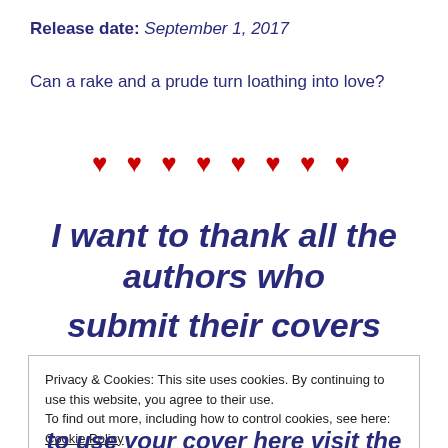Release date: September 1, 2017
Can a rake and a prude turn loathing into love?
♥ ♥ ♥ ♥ ♥ ♥ ♥ ♥
I want to thank all the authors who
submit their covers
Privacy & Cookies: This site uses cookies. By continuing to use this website, you agree to their use.
To find out more, including how to control cookies, see here: Cookie Policy
Close and accept
to use your cover here visit the